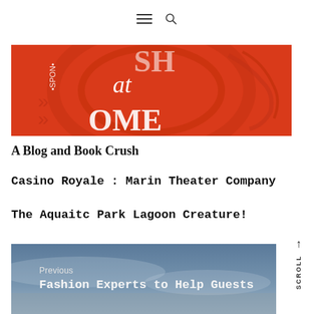≡ 🔍
[Figure (photo): Red book cover with white stylized text reading 'at HOME', with decorative line art. Left spine shows rotated text '•SPON•'. Vivid red background.]
A Blog and Book Crush
Casino Royale : Marin Theater Company
The Aquaitc Park Lagoon Creature!
[Figure (photo): Dark blue/grey sky background image used as a navigation panel footer with 'Previous' label and 'Fashion Experts to Help Guests' text in white.]
Previous
Fashion Experts to Help Guests